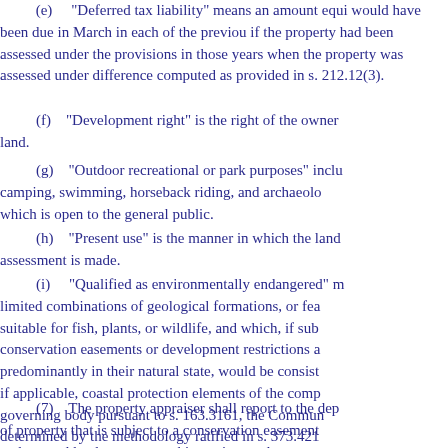(e) "Deferred tax liability" means an amount equal to what would have been due in March in each of the previous years if the property had been assessed under the provisions in those years when the property was assessed under the difference computed as provided in s. 212.12(3).
(f) "Development right" is the right of the owner of land.
(g) "Outdoor recreational or park purposes" includes camping, swimming, horseback riding, and archaeology, which is open to the general public.
(h) "Present use" is the manner in which the land assessment is made.
(i) "Qualified as environmentally endangered" means limited combinations of geological formations, or features suitable for fish, plants, or wildlife, and which, if subject to conservation easements or development restrictions and predominantly in their natural state, would be consistent, if applicable, coastal protection elements of the comprehensive governing body pursuant to s. 163.3161, the Community determined by the methodology ratified in s. 373.421.
(7) The property appraiser shall report to the department of property that is subject to a conservation easement endangered land pursuant to this section, and property